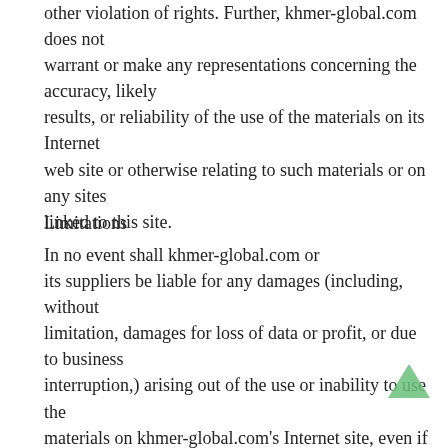other violation of rights. Further, khmer-global.com does not warrant or make any representations concerning the accuracy, likely results, or reliability of the use of the materials on its Internet web site or otherwise relating to such materials or on any sites linked to this site.
Limitations
In no event shall khmer-global.com or its suppliers be liable for any damages (including, without limitation, damages for loss of data or profit, or due to business interruption,) arising out of the use or inability to use the materials on khmer-global.com's Internet site, even if